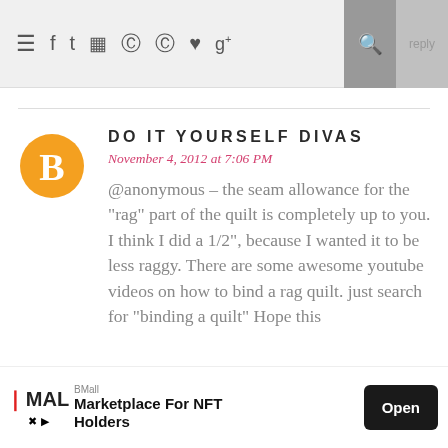≡ f t ☷ ⊕ ⊕ ♥ g+ 🔍 reply
DO IT YOURSELF DIVAS
November 4, 2012 at 7:06 PM
@anonymous – the seam allowance for the "rag" part of the quilt is completely up to you. I think I did a 1/2", because I wanted it to be less raggy. There are some awesome youtube videos on how to bind a rag quilt. just search for "binding a quilt" Hope this
[Figure (logo): Orange circular Blogger icon with white 'B' letter]
BMall  Marketplace For NFT Holders  Open